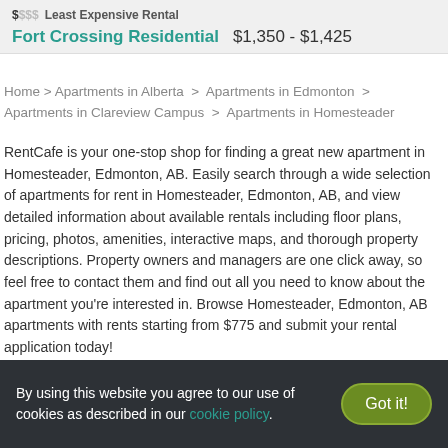$$$ Least Expensive Rental
Fort Crossing Residential   $1,350 - $1,425
Home > Apartments in Alberta > Apartments in Edmonton > Apartments in Clareview Campus > Apartments in Homesteader
RentCafe is your one-stop shop for finding a great new apartment in Homesteader, Edmonton, AB. Easily search through a wide selection of apartments for rent in Homesteader, Edmonton, AB, and view detailed information about available rentals including floor plans, pricing, photos, amenities, interactive maps, and thorough property descriptions. Property owners and managers are one click away, so feel free to contact them and find out all you need to know about the apartment you're interested in. Browse Homesteader, Edmonton, AB apartments with rents starting from $775 and submit your rental application today!
Finding a home nearby is easier than you think. Check out our Apartments Near Me page and take your pick!
By using this website you agree to our use of cookies as described in our cookie policy.